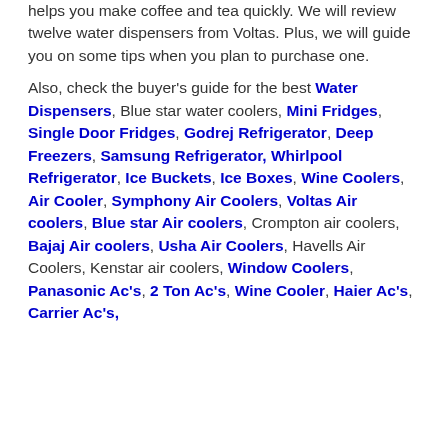helps you make coffee and tea quickly. We will review twelve water dispensers from Voltas. Plus, we will guide you on some tips when you plan to purchase one.
Also, check the buyer's guide for the best Water Dispensers, Blue star water coolers, Mini Fridges, Single Door Fridges, Godrej Refrigerator, Deep Freezers, Samsung Refrigerator, Whirlpool Refrigerator, Ice Buckets, Ice Boxes, Wine Coolers, Air Cooler, Symphony Air Coolers, Voltas Air coolers, Blue star Air coolers, Crompton air coolers, Bajaj Air coolers, Usha Air Coolers, Havells Air Coolers, Kenstar air coolers, Window Coolers, Panasonic Ac's, 2 Ton Ac's, Wine Cooler, Haier Ac's, Carrier Ac's,